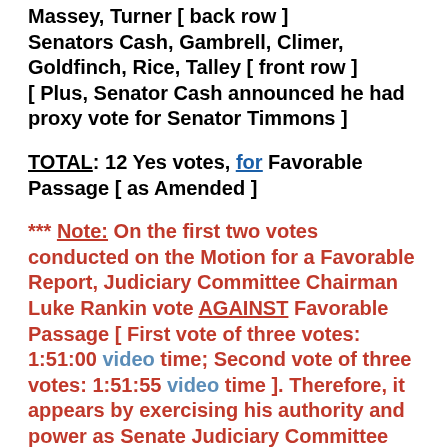Massey, Turner [ back row ]
Senators Cash, Gambrell, Climer, Goldfinch, Rice, Talley [ front row ]
[ Plus, Senator Cash announced he had proxy vote for Senator Timmons ]
TOTAL: 12 Yes votes, for Favorable Passage [ as Amended ]
*** Note: On the first two votes conducted on the Motion for a Favorable Report, Judiciary Committee Chairman Luke Rankin vote AGAINST Favorable Passage [ First vote of three votes: 1:51:00 video time; Second vote of three votes: 1:51:55 video time ]. Therefore, it appears by exercising his authority and power as Senate Judiciary Committee Chairman, Senator Rankin was able to conduct multiple re-votes on the same Motion, and changed his vote after he